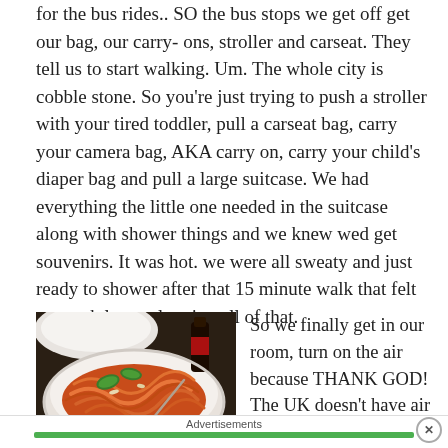for the bus rides.. SO the bus stops we get off get our bag, our carry- ons, stroller and carseat. They tell us to start walking. Um. The whole city is cobble stone. So you're just trying to push a stroller with your tired toddler, pull a carseat bag, carry your camera bag, AKA carry on, carry your child's diaper bag and pull a large suitcase. We had everything the little one needed in the suitcase along with shower things and we knew wed get souvenirs. It was hot. we were all sweaty and just ready to shower after that 15 minute walk that felt so much longer lugging all of that.
[Figure (photo): A white bowl of pasta with tomato sauce, basil leaves, and a fork, on a dark table with a white plate and bottle in the background.]
So we finally get in our room, turn on the air because THANK GOD! The UK doesn't have air con and it was
Advertisements